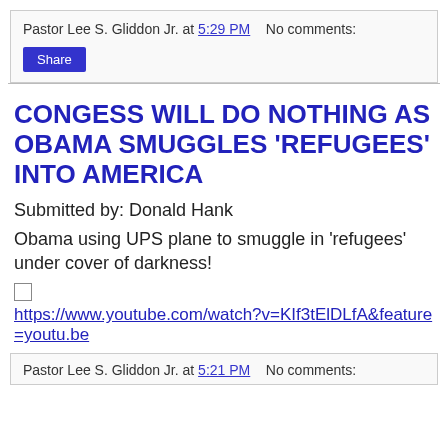Pastor Lee S. Gliddon Jr. at 5:29 PM   No comments:
Share
CONGESS WILL DO NOTHING AS OBAMA SMUGGLES 'REFUGEES' INTO AMERICA
Submitted by: Donald Hank
Obama using UPS plane to smuggle in 'refugees' under cover of darkness!
https://www.youtube.com/watch?v=KIf3tElDLfA&feature=youtu.be
Pastor Lee S. Gliddon Jr. at 5:21 PM   No comments: